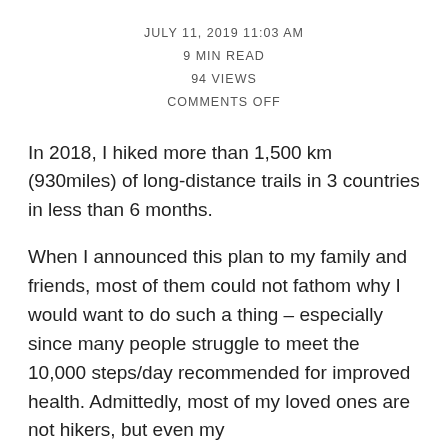JULY 11, 2019 11:03 AM
9 MIN READ
94 VIEWS
COMMENTS OFF
In 2018, I hiked more than 1,500 km (930miles) of long-distance trails in 3 countries in less than 6 months.
When I announced this plan to my family and friends, most of them could not fathom why I would want to do such a thing – especially since many people struggle to meet the 10,000 steps/day recommended for improved health. Admittedly, most of my loved ones are not hikers, but even my